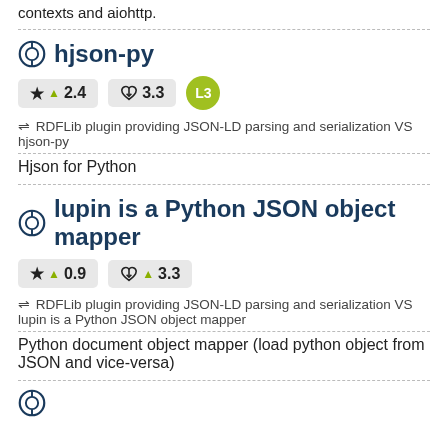contexts and aiohttp.
hjson-py
★ ▲2.4   ♥ 3.3   L3
⇌ RDFLib plugin providing JSON-LD parsing and serialization VS hjson-py
Hjson for Python
lupin is a Python JSON object mapper
★ ▲0.9   ♥ ▲3.3
⇌ RDFLib plugin providing JSON-LD parsing and serialization VS lupin is a Python JSON object mapper
Python document object mapper (load python object from JSON and vice-versa)